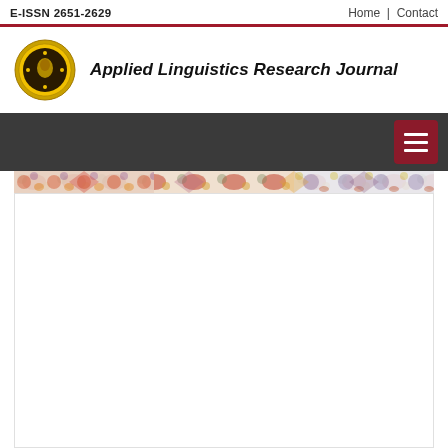E-ISSN 2651-2629
Home | Contact
[Figure (logo): Applied Linguistics Research Journal circular logo with yellow border and emblem]
Applied Linguistics Research Journal
[Figure (illustration): Dark navigation bar with hamburger menu button (three horizontal lines) on dark red background, positioned top-right]
[Figure (illustration): Decorative patchwork floral banner strip across full width]